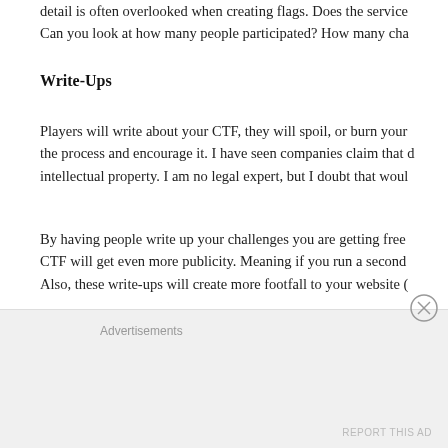detail is often overlooked when creating flags. Does the service Can you look at how many people participated? How many cha
Write-Ups
Players will write about your CTF, they will spoil, or burn your the process and encourage it. I have seen companies claim that d intellectual property. I am no legal expert, but I doubt that woul
By having people write up your challenges you are getting free CTF will get even more publicity. Meaning if you run a second Also, these write-ups will create more footfall to your website (
Retrospectives
Advertisements